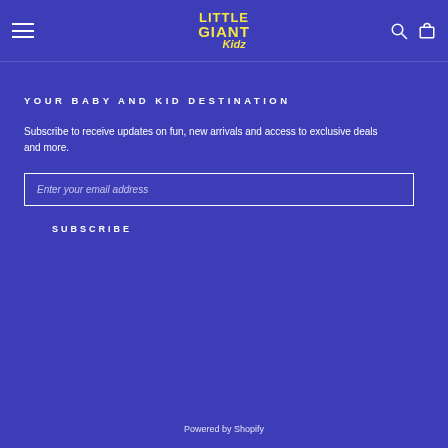Little Giant Kidz - navigation header with hamburger menu, logo, search and cart icons
YOUR BABY AND KID DESTINATION
Subscribe to receive updates on fun, new arrivals and access to exclusive deals and more.
Enter your email address
SUBSCRIBE
Powered by Shopify